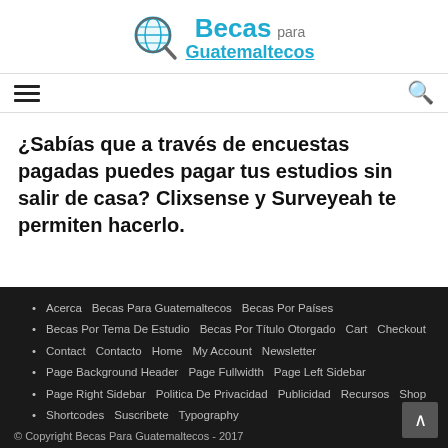[Figure (logo): Becas para Guatemaltecos logo with globe/magnifier icon]
¿Sabías que a través de encuestas pagadas puedes pagar tus estudios sin salir de casa? Clixsense y Surveyeah te permiten hacerlo.
Acerca  Becas Para Guatemaltecos  Becas Por Países
Becas Por Tema De Estudio  Becas Por Título Otorgado  Cart  Checkout
Contact  Contacto  Home  My Account  Newsletter
Page Background Header  Page Fullwidth  Page Left Sidebar
Page Right Sidebar  Politica De Privacidad  Publicidad  Recursos  Shop
Shortcodes  Suscribete  Typography
© Copyright Becas Para Guatemaltecos - 2017